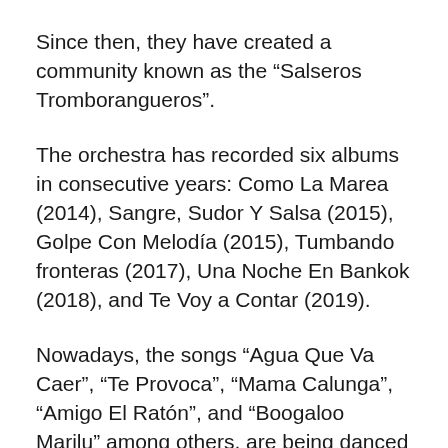Since then, they have created a community known as the “Salseros Tromborangueros”.
The orchestra has recorded six albums in consecutive years: Como La Marea (2014), Sangre, Sudor Y Salsa (2015), Golpe Con Melodía (2015), Tumbando fronteras (2017), Una Noche En Bankok (2018), and Te Voy a Contar (2019).
Nowadays, the songs “Agua Que Va Caer”, “Te Provoca”, “Mama Calunga”, “Amigo El Ratón”, and “Boogaloo Marilu” among others, are being danced on the dance floors of Salsoteca, dance schools, parties, and festivals Salsa worldwide.